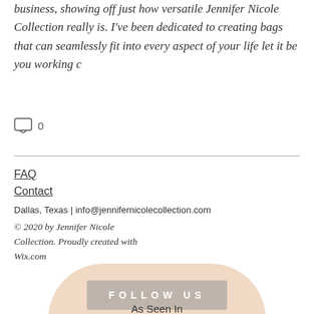business, showing off just how versatile Jennifer Nicole Collection really is. I've been dedicated to creating bags that can seamlessly fit into every aspect of your life let it be you working c
[Figure (other): Comment icon with count 0]
FAQ
Contact
Dallas, Texas | info@jennifernicolecollection.com
© 2020 by Jennifer Nicole Collection. Proudly created with Wix.com
[Figure (infographic): Follow Us pill-shaped banner with Facebook, Pinterest, and Instagram social media icons on a peach/beige background]
As Seen In